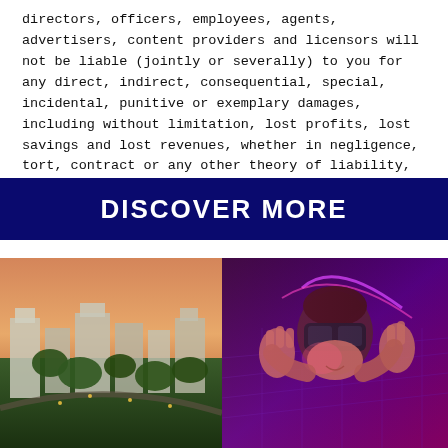directors, officers, employees, agents, advertisers, content providers and licensors will not be liable (jointly or severally) to you for any direct, indirect, consequential, special, incidental, punitive or exemplary damages, including without limitation, lost profits, lost savings and lost revenues, whether in negligence, tort, contract or any other theory of liability, even if the parties have been advised of the possibility or could have foreseen any such damages.
DISCOVER MORE
[Figure (photo): Aerial view of a city with buildings and greenery at dusk/sunset]
[Figure (photo): Person wearing a VR headset with hands raised, illuminated by purple and pink neon light]